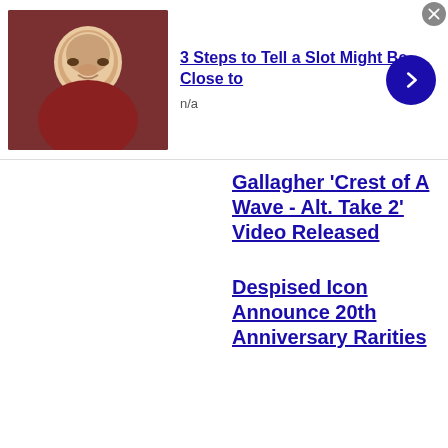[Figure (screenshot): Thumbnail photo of an older man in a dark red shirt]
3 Steps to Tell a Slot Might Be Close to
n/a
Gallagher 'Crest of A Wave - Alt. Take 2' Video Released
Despised Icon Announce 20th Anniversary Rarities
[Figure (screenshot): Thumbnail photo of an older man in a dark red shirt]
3 Steps to Tell a Slot Might Be Close to
n/a